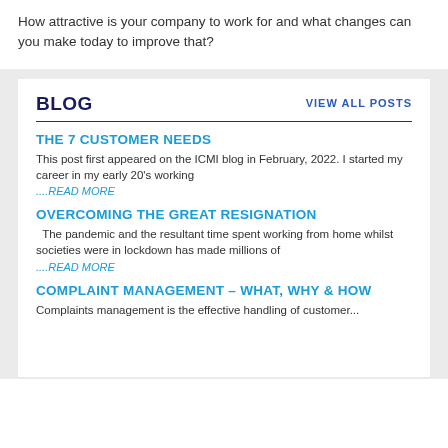How attractive is your company to work for and what changes can you make today to improve that?
BLOG
VIEW ALL POSTS
THE 7 CUSTOMER NEEDS
This post first appeared on the ICMI blog in February, 2022. I started my career in my early 20's working
....READ MORE
OVERCOMING THE GREAT RESIGNATION
The pandemic and the resultant time spent working from home whilst societies were in lockdown has made millions of
....READ MORE
COMPLAINT MANAGEMENT – WHAT, WHY & HOW
Complaints management is the effective handling of customer...